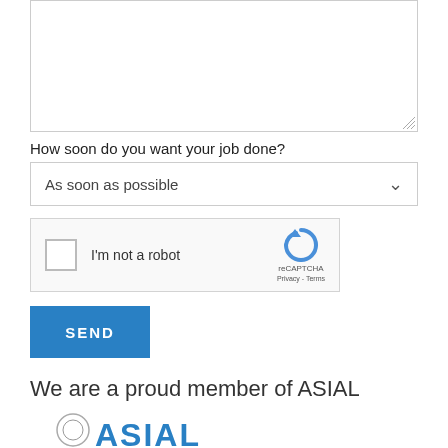[Figure (screenshot): Textarea input field with resize handle at bottom right]
How soon do you want your job done?
[Figure (screenshot): Dropdown select box showing 'As soon as possible' with chevron arrow]
[Figure (screenshot): reCAPTCHA widget with checkbox labeled 'I'm not a robot' and reCAPTCHA logo with Privacy - Terms text]
[Figure (screenshot): Blue SEND button]
We are a proud member of ASIAL
[Figure (logo): ASIAL logo in blue with circular emblem]